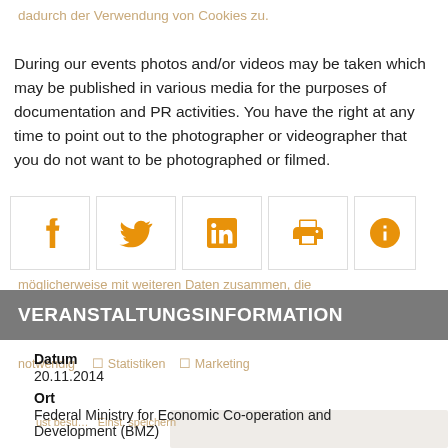dadurch der Verwendung von Cookies zu.
During our events photos and/or videos may be taken which may be published in various media for the purposes of documentation and PR activities. You have the right at any time to point out to the photographer or videographer that you do not want to be photographed or filmed.
[Figure (other): Social media sharing icons row: Facebook, Twitter, LinkedIn, Print, Info — each in an outlined box with orange icons]
VERANSTALTUNGSINFORMATION
Datum
20.11.2014
Ort
Federal Ministry for Economic Co-operation and Development (BMZ)